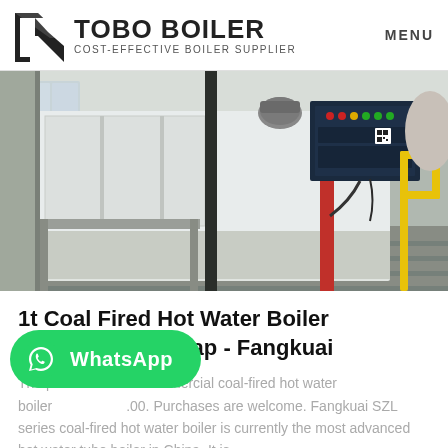TOBO BOILER COST-EFFECTIVE BOILER SUPPLIER | MENU
[Figure (photo): Industrial boiler installation in a factory setting showing a large white boiler unit with a dark blue electrical control panel mounted on a red pole, with yellow railing visible on the right side.]
1t Coal Fired Hot Water Boiler Commercial Cheap - Fangkuai
The price of a 1 ton commercial coal-fired hot water boiler .00. Purchases are welcome. Fangkuai SZL series coal-fired hot water boiler is currently the most advanced hot water tube boiler in China. It is…